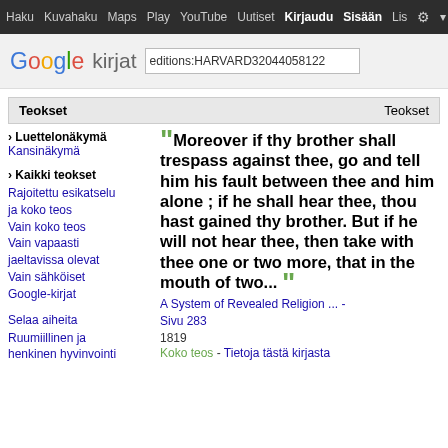Haku  Kuvahaku  Maps  Play  YouTube  Uutiset  Kirjaudu Sisään  Lisä
[Figure (screenshot): Google Kirjat logo with search box containing 'editions:HARVARD32044058122']
Teokset
› Luettelonäkymä
Kansinäkymä
› Kaikki teokset
Rajoitettu esikatselu ja koko teos
Vain koko teos
Vain vapaasti jaeltavissa olevat
Vain sähköiset Google-kirjat
Selaa aiheita
Ruumiillinen ja henkinen hyvinvointi
" Moreover if thy brother shall trespass against thee, go and tell him his fault between thee and him alone ; if he shall hear thee, thou hast gained thy brother. But if he will not hear thee, then take with thee one or two more, that in the mouth of two... "
A System of Revealed Religion ... - Sivu 283
1819
Koko teos - Tietoja tästä kirjasta